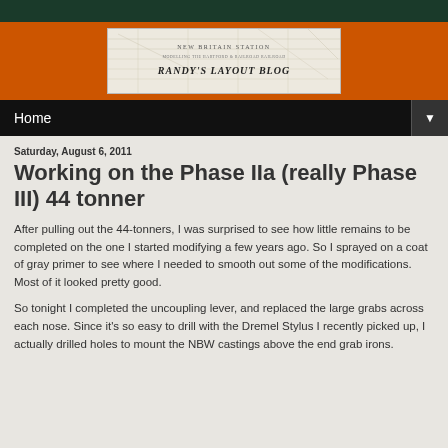[Figure (illustration): Randy's Layout Blog banner with blueprint-style map background and text 'NEW BRITAIN STATION - MODELLING THE HARTFORD & RAILROAD RAILROAD' and 'RANDY'S LAYOUT BLOG']
Home ▼
Saturday, August 6, 2011
Working on the Phase IIa (really Phase III) 44 tonner
After pulling out the 44-tonners, I was surprised to see how little remains to be completed on the one I started modifying a few years ago. So I sprayed on a coat of gray primer to see where I needed to smooth out some of the modifications. Most of it looked pretty good.
So tonight I completed the uncoupling lever, and replaced the large grabs across each nose. Since it's so easy to drill with the Dremel Stylus I recently picked up, I actually drilled holes to mount the NBW castings above the end grab irons.